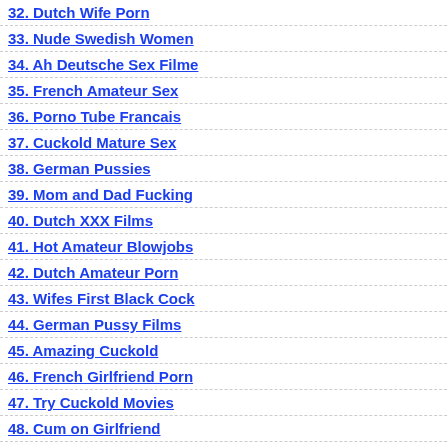32. Dutch Wife Porn
33. Nude Swedish Women
34. Ah Deutsche Sex Filme
35. French Amateur Sex
36. Porno Tube Francais
37. Cuckold Mature Sex
38. German Pussies
39. Mom and Dad Fucking
40. Dutch XXX Films
41. Hot Amateur Blowjobs
42. Dutch Amateur Porn
43. Wifes First Black Cock
44. German Pussy Films
45. Amazing Cuckold
46. French Girlfriend Porn
47. Try Cuckold Movies
48. Cum on Girlfriend
49. Old and Young
Mature Wife Anal
My Wife Cuckold
Nude Dutch Women
Related Videos
[Figure (photo): Video thumbnail showing a woman performing oral activity, duration 13m:47s]
[Figure (photo): Partial video thumbnail on right side, duration 9m:4?s]
Middle-Aged spouse performs a slow stunning oral stimulation until husbands ejaculates in her mouth
1,085 views  0%
302 v...
[Figure (photo): Second row video thumbnail - dark image]
[Figure (photo): Second row partial video thumbnail - orange/warm tones]